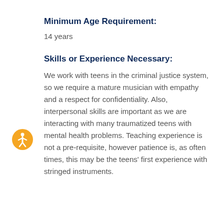Minimum Age Requirement:
14 years
Skills or Experience Necessary:
We work with teens in the criminal justice system, so we require a mature musician with empathy and a respect for confidentiality. Also, interpersonal skills are important as we are interacting with many traumatized teens with mental health problems. Teaching experience is not a pre-requisite, however patience is, as often times, this may be the teens' first experience with stringed instruments.